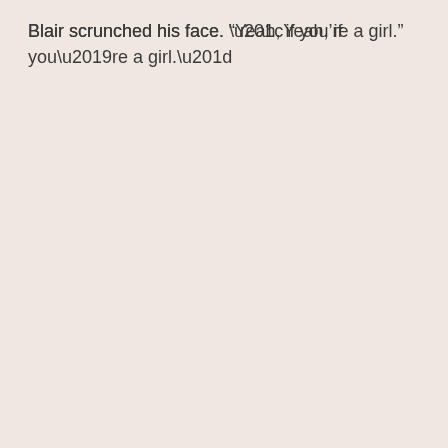Blair scrunched his face. “Yeah, if you’re a girl.”
“How do you spell it?”
“I don’t know how to spell,” he said.
I tried to hide my surprise. “Well, then I’ll show you how to spell the boy version.”
He looked at me with his big blue eyes. “I’m fishing.”
“Right.” I dug in my pocket for a pen. “Give me your hand.”
… (blurred/partially visible line)
Advertisements
[Figure (screenshot): DuckDuckGo advertisement banner: orange left panel with text 'Search, browse, and email with more privacy. All in One Free App' and dark right panel with DuckDuckGo logo and name.]